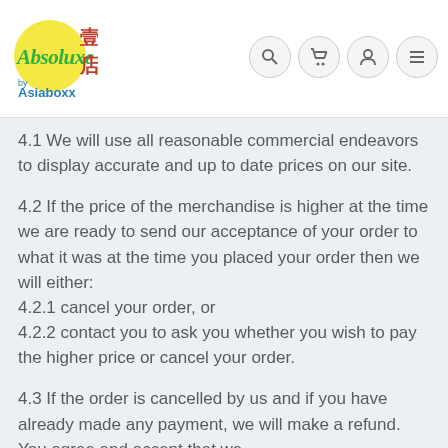[Figure (logo): Absoluxe by Asiaboxx logo with yellow circle, green script text, red Chinese characters]
4.1 We will use all reasonable commercial endeavors to display accurate and up to date prices on our site.
4.2 If the price of the merchandise is higher at the time we are ready to send our acceptance of your order to what it was at the time you placed your order then we will either:
4.2.1 cancel your order, or
4.2.2 contact you to ask you whether you wish to pay the higher price or cancel your order.
4.3 If the order is cancelled by us and if you have already made any payment, we will make a refund. You agree and accept that we